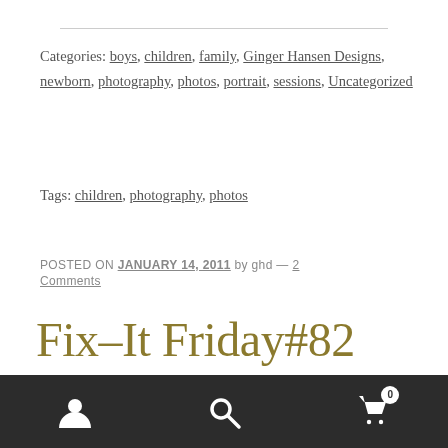Categories: boys, children, family, Ginger Hansen Designs, newborn, photography, photos, portrait, sessions, Uncategorized
Tags: children, photography, photos
POSTED ON JANUARY 14, 2011 by ghd — 2 Comments
Fix-It Friday#82
Here is another fix-it Friday from the ladios at...